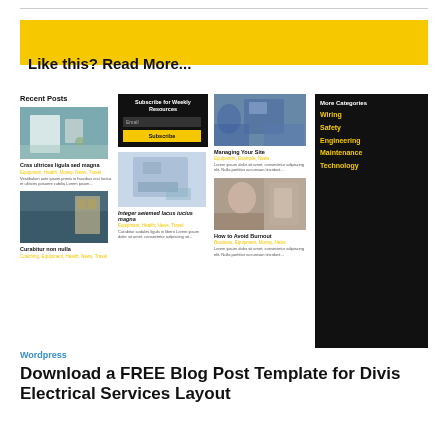Like this? Read More...
[Figure (screenshot): Blog layout with Recent Posts, Subscribe widget, article thumbnails, and More Categories sidebar]
Wordpress
Download a FREE Blog Post Template for Divis Electrical Services Layout